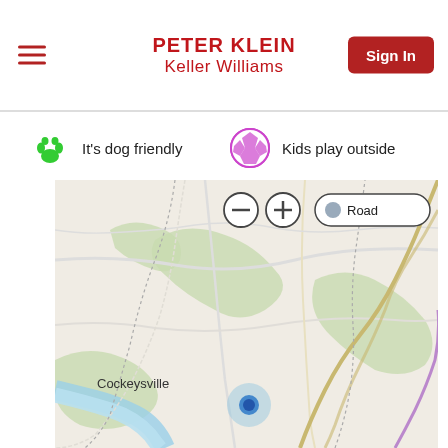PETER KLEIN
Keller Williams
It's dog friendly
Kids play outside
[Figure (map): Road map showing Cockeysville area with a location marker (blue dot) in the center-bottom area of the map, with map controls: minus button, plus button, and Road view toggle button]